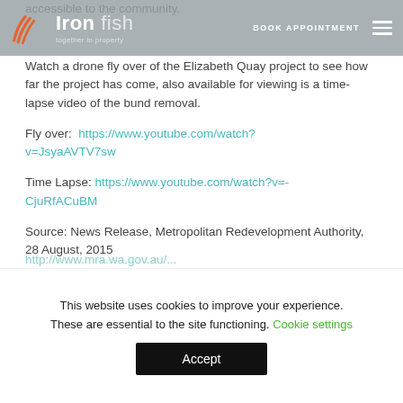Iron Fish — Together in Property | BOOK APPOINTMENT
accessible to the community.
Watch a drone fly over of the Elizabeth Quay project to see how far the project has come, also available for viewing is a time-lapse video of the bund removal.
Fly over:  https://www.youtube.com/watch?v=JsyaAVTV7sw
Time Lapse: https://www.youtube.com/watch?v=-CjuRfACuBM
Source: News Release, Metropolitan Redevelopment Authority, 28 August, 2015
This website uses cookies to improve your experience. These are essential to the site functioning. Cookie settings Accept